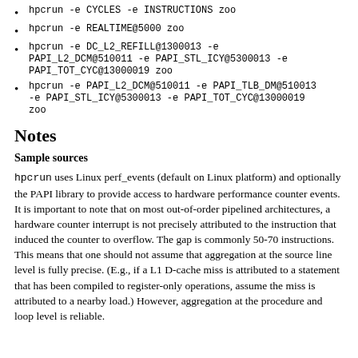hpcrun -e CYCLES -e INSTRUCTIONS zoo
hpcrun -e REALTIME@5000 zoo
hpcrun -e DC_L2_REFILL@1300013 -e PAPI_L2_DCM@510011 -e PAPI_STL_ICY@5300013 -e PAPI_TOT_CYC@13000019 zoo
hpcrun -e PAPI_L2_DCM@510011 -e PAPI_TLB_DM@510013 -e PAPI_STL_ICY@5300013 -e PAPI_TOT_CYC@13000019 zoo
Notes
Sample sources
hpcrun uses Linux perf_events (default on Linux platform) and optionally the PAPI library to provide access to hardware performance counter events. It is important to note that on most out-of-order pipelined architectures, a hardware counter interrupt is not precisely attributed to the instruction that induced the counter to overflow. The gap is commonly 50-70 instructions. This means that one should not assume that aggregation at the source line level is fully precise. (E.g., if a L1 D-cache miss is attributed to a statement that has been compiled to register-only operations, assume the miss is attributed to a nearby load.) However, aggregation at the procedure and loop level is reliable.